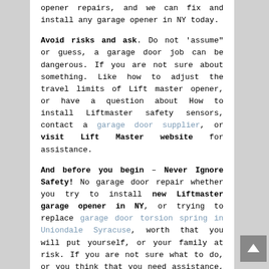opener repairs, and we can fix and install any garage opener in NY today.
Avoid risks and ask. Do not 'assume" or guess, a garage door job can be dangerous. If you are not sure about something. Like how to adjust the travel limits of Lift master opener, or have a question about How to install Liftmaster safety sensors, contact a garage door supplier, or visit Lift Master website for assistance.
And before you begin – Never Ignore Safety! No garage door repair whether you try to install new Liftmaster garage opener in NY, or trying to replace garage door torsion spring in Uniondale Syracuse, worth that you will put yourself, or your family at risk. If you are not sure what to do, or you think that you need assistance, do not hesitate, and get a Liftmaster openers specialist repairs in Syracuse to assist you. The thing with overhead doors issues, is that